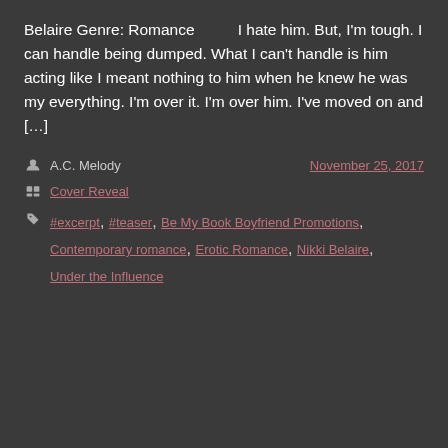Belaire Genre: Romance    I hate him. But, I'm tough. I can handle being dumped. What I can't handle is him acting like I meant nothing to him when he knew he was my everything. I'm over it. I'm over him. I've moved on and […]
Author: A.C. Melody    Date: November 25, 2017
Category: Cover Reveal
Tags: #excerpt, #teaser, Be My Book Boyfriend Promotions, Contemporary romance, Erotic Romance, Nikki Belaire, Under the Influence